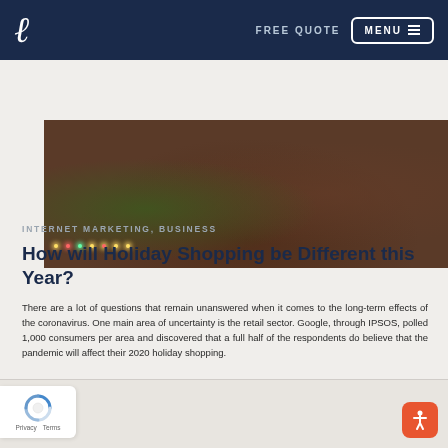FREE QUOTE  MENU
[Figure (photo): Person sitting on a couch near a Christmas tree with lights, dark moody holiday scene]
INTERNET MARKETING, BUSINESS
How will Holiday Shopping be Different this Year?
There are a lot of questions that remain unanswered when it comes to the long-term effects of the coronavirus. One main area of uncertainty is the retail sector. Google, through IPSOS, polled 1,000 consumers per area and discovered that a full half of the respondents do believe that the pandemic will affect their 2020 holiday shopping.